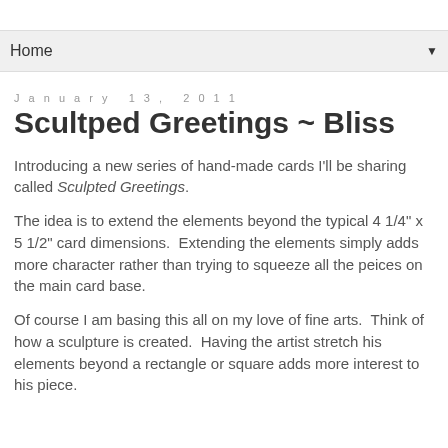Home
January 13, 2011
Scultped Greetings ~ Bliss
Introducing a new series of hand-made cards I'll be sharing called Sculpted Greetings.
The idea is to extend the elements beyond the typical 4 1/4" x 5 1/2" card dimensions.  Extending the elements simply adds more character rather than trying to squeeze all the peices on the main card base.
Of course I am basing this all on my love of fine arts.  Think of how a sculpture is created.  Having the artist stretch his elements beyond a rectangle or square adds more interest to his piece.